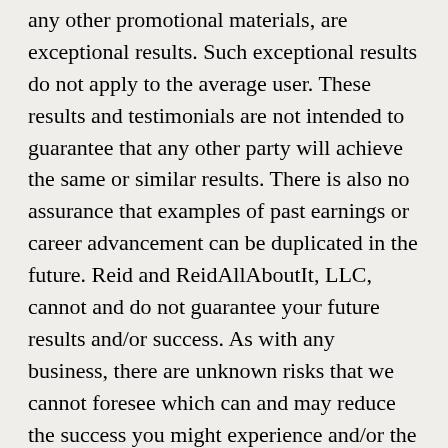any other promotional materials, are exceptional results. Such exceptional results do not apply to the average user. These results and testimonials are not intended to guarantee that any other party will achieve the same or similar results. There is also no assurance that examples of past earnings or career advancement can be duplicated in the future. Reid and ReidAllAboutIt, LLC, cannot and do not guarantee your future results and/or success. As with any business, there are unknown risks that we cannot foresee which can and may reduce the success you might experience and/or the revenues you might achieve. Everyone is advised to do their own due diligence when it comes to evaluating one's earning potential. All information, programs, products and services that have been provided should be independently verified by your own due